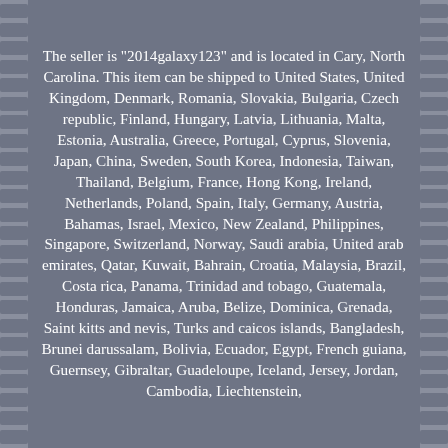The seller is "2014galaxy123" and is located in Cary, North Carolina. This item can be shipped to United States, United Kingdom, Denmark, Romania, Slovakia, Bulgaria, Czech republic, Finland, Hungary, Latvia, Lithuania, Malta, Estonia, Australia, Greece, Portugal, Cyprus, Slovenia, Japan, China, Sweden, South Korea, Indonesia, Taiwan, Thailand, Belgium, France, Hong Kong, Ireland, Netherlands, Poland, Spain, Italy, Germany, Austria, Bahamas, Israel, Mexico, New Zealand, Philippines, Singapore, Switzerland, Norway, Saudi arabia, United arab emirates, Qatar, Kuwait, Bahrain, Croatia, Malaysia, Brazil, Costa rica, Panama, Trinidad and tobago, Guatemala, Honduras, Jamaica, Aruba, Belize, Dominica, Grenada, Saint kitts and nevis, Turks and caicos islands, Bangladesh, Brunei darussalam, Bolivia, Ecuador, Egypt, French guiana, Guernsey, Gibraltar, Guadeloupe, Iceland, Jersey, Jordan, Cambodia, Liechtenstein,